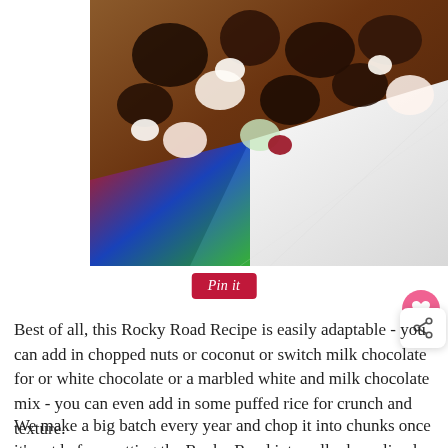[Figure (photo): Rocky road chocolate candy pieces in a red and white box, viewed from above, showing chunks of chocolate with marshmallow and other mix-ins]
Pin it
Best of all, this Rocky Road Recipe is easily adaptable - you can add in chopped nuts or coconut or switch milk chocolate for or white chocolate or a marbled white and milk chocolate mix - you can even add in some puffed rice for crunch and texture.
We make a big batch every year and chop it into chunks once it's set before putting the Rocky Road into cellophane lined Noodle